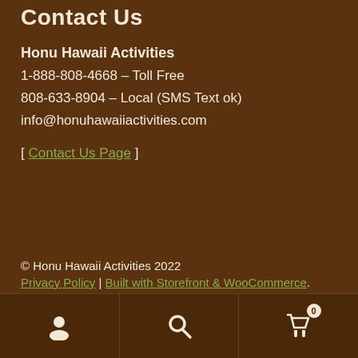Contact Us
Honu Hawaii Activities
1-888-808-4668 – Toll Free
808-633-8904 – Local (SMS Text ok)
info@honuhawaiiactivities.com
[ Contact Us Page ]
© Honu Hawaii Activities 2022
Privacy Policy | Built with Storefront & WooCommerce.